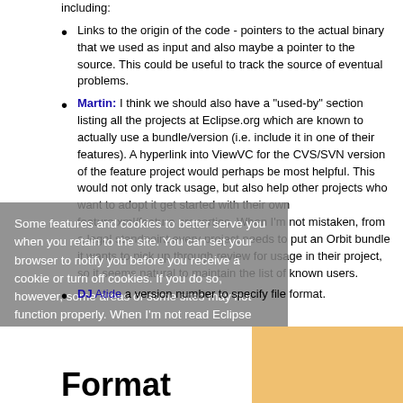including:
Links to the origin of the code - pointers to the actual binary that we used as input and also maybe a pointer to the source. This could be useful to track the source of eventual problems.
Martin: I think we should also have a "used-by" section listing all the projects at Eclipse.org which are known to actually use a bundle/version (i.e. include it in one of their features). A hyperlink into ViewVC for the CVS/SVN version of the feature project would perhaps be most helpful. This would not only track usage, but also help other projects who want to adopt it get started with their own feature.xml/feature properties. When I'm not mistaken, from a legal standpoint every project needs to put an Orbit bundle it wants to pick up through review for usage in their project, so it seems natural to maintain the list of known users.
DJ-Atide a version number to specify file format.
Format
Some features and cookies to better serve you when you retain to the site. You can set your browser to notify you before you receive a cookie or turn off cookies. If you do so, however, some areas of some sites may not function properly. When I'm not read Eclipse Foundation Privacy Policy click here.